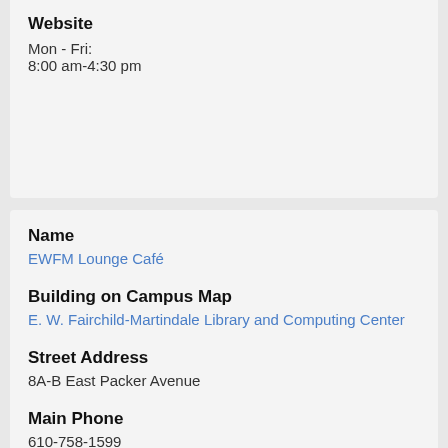Website
Mon - Fri:
8:00 am-4:30 pm
Name
EWFM Lounge Café
Building on Campus Map
E. W. Fairchild-Martindale Library and Computing Center
Street Address
8A-B East Packer Avenue
Main Phone
610-758-1599
Main Email Address
jala@lehigh.edu
Website